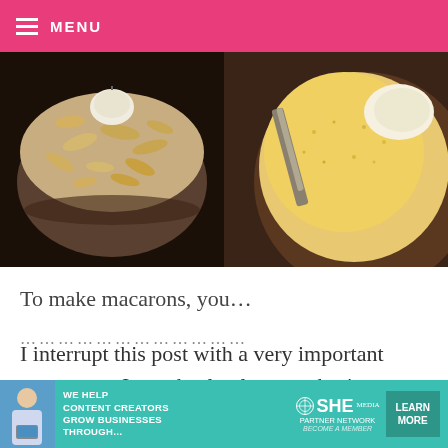MENU
[Figure (photo): Two food preparation photos side by side: left shows almonds/cashews in a blender bowl, right shows ground almond flour in a food processor bowl with spatula]
To make macarons, you…
………………………………
I interrupt this post with a very important message… I am absolutely no authority on making these. I still need to keep trying because while I
[Figure (infographic): SHE Media advertisement banner: We help content creators grow businesses through... SHE Partner Network - Become a Member - Learn More]